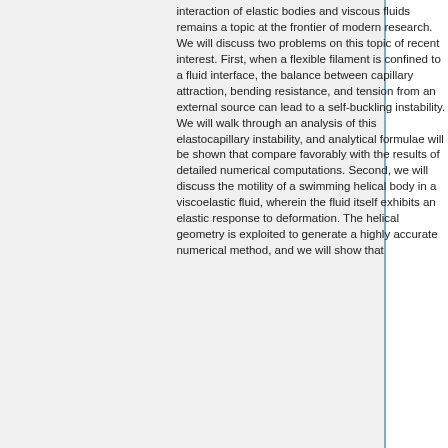interaction of elastic bodies and viscous fluids remains a topic at the frontier of modern research. We will discuss two problems on this topic of recent interest. First, when a flexible filament is confined to a fluid interface, the balance between capillary attraction, bending resistance, and tension from an external source can lead to a self-buckling instability. We will walk through an analysis of this elastocapillary instability, and analytical formulae will be shown that compare favorably with the results of detailed numerical computations. Second, we will discuss the motility of a swimming helical body in a viscoelastic fluid, wherein the fluid itself exhibits an elastic response to deformation. The helical geometry is exploited to generate a highly accurate numerical method, and we will show that